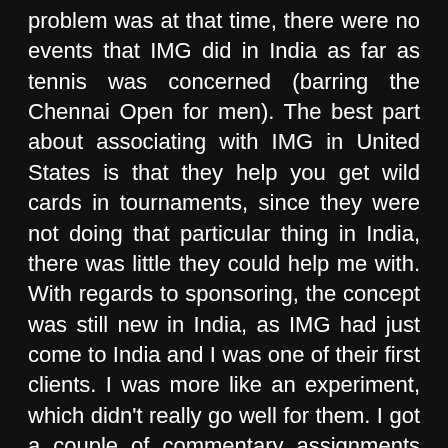problem was at that time, there were no events that IMG did in India as far as tennis was concerned (barring the Chennai Open for men). The best part about associating with IMG in United States is that they help you get wild cards in tournaments, since they were not doing that particular thing in India, there was little they could help me with. With regards to sponsoring, the concept was still new in India, as IMG had just come to India and I was one of their first clients. I was more like an experiment, which didn't really go well for them. I got a couple of commentary assignments through IMG, but sponsorship wise, I didn't get any from them."
Nirupama went about talking what the tennis association could have done. Tennis association in